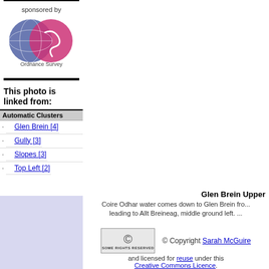sponsored by
[Figure (logo): Ordnance Survey logo with two overlapping circles and 'Ordnance Survey' text below]
This photo is linked from:
Automatic Clusters
Glen Brein [4]
Gully [3]
Slopes [3]
Top Left [2]
Glen Brein Upper
Coire Odhar water comes down to Glen Brein fro... leading to Allt Breineag, middle ground left. ...
[Figure (logo): Creative Commons Some Rights Reserved badge]
© Copyright Sarah McGuire and licensed for reuse under this Creative Commons Licence.